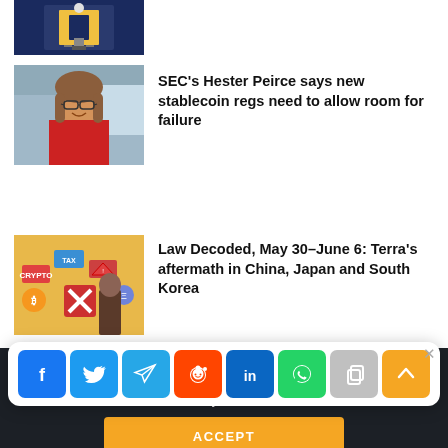[Figure (photo): Partial view of top article with dark blue background image]
[Figure (photo): Woman with glasses in red jacket, SEC Hester Peirce]
SEC's Hester Peirce says new stablecoin regs need to allow room for failure
[Figure (photo): Person with crypto warning signs, colorful illustration]
Law Decoded, May 30–June 6: Terra's aftermath in China, Japan and South Korea
[Figure (infographic): Social media share buttons: Facebook, Twitter, Telegram, Reddit, LinkedIn, WhatsApp, Copy, Scroll-up]
Cointelegraph.com uses Cookies to ensure the best experience for you.
ACCEPT